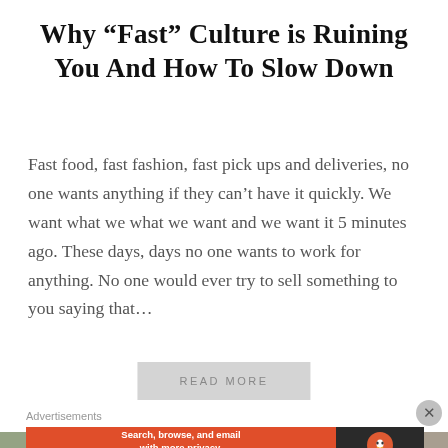Why “Fast” Culture is Ruining You And How To Slow Down
Fast food, fast fashion, fast pick ups and deliveries, no one wants anything if they can’t have it quickly. We want what we what we want and we want it 5 minutes ago. These days, days no one wants to work for anything. No one would ever try to sell something to you saying that…
READ MORE
[Figure (photo): Partial view of an interior room with beige/tan walls, a window with blinds on the right side, and green plant visible on the left edge]
Advertisements
[Figure (screenshot): DuckDuckGo advertisement banner: orange left section with text 'Search, browse, and email with more privacy. All in One Free App' and dark right section with DuckDuckGo logo]